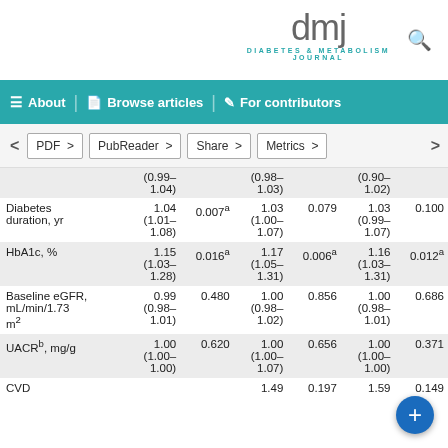dmj DIABETES & METABOLISM JOURNAL
About | Browse articles | For contributors
PDF > | PubReader > | Share > | Metrics >
| Variable | Value | P | Value | P | Value | P |
| --- | --- | --- | --- | --- | --- | --- |
|  | (0.99–1.04) |  | (0.98–1.03) |  | (0.90–1.02) |  |
| Diabetes duration, yr | 1.04
(1.01–1.08) | 0.007a | 1.03
(1.00–1.07) | 0.079 | 1.03
(0.99–1.07) | 0.100 |
| HbA1c, % | 1.15
(1.03–1.28) | 0.016a | 1.17
(1.05–1.31) | 0.006a | 1.16
(1.03–1.31) | 0.012a |
| Baseline eGFR, mL/min/1.73 m2 | 0.99
(0.98–1.01) | 0.480 | 1.00
(0.98–1.02) | 0.856 | 1.00
(0.98–1.01) | 0.686 |
| UACRb, mg/g | 1.00
(1.00–1.00) | 0.620 | 1.00
(1.00–1.07) | 0.656 | 1.00
(1.00–1.00) | 0.371 |
| CVD |  |  | 1.49 | 0.197 | 1.59 | 0.149 |